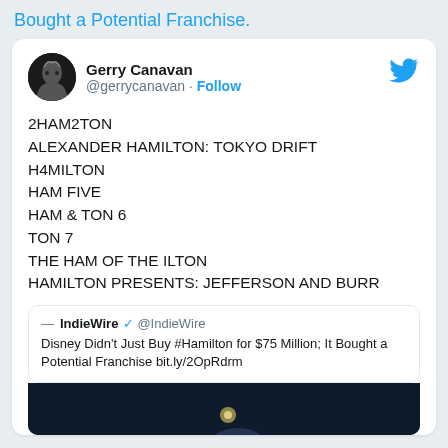Bought a Potential Franchise.
Gerry Canavan
@gerrycanavan · Follow

2HAM2TON
ALEXANDER HAMILTON: TOKYO DRIFT
H4MILTON
HAM FIVE
HAM & TON 6
TON 7
THE HAM OF THE ILTON
HAMILTON PRESENTS: JEFFERSON AND BURR
IndieWire @IndieWire
Disney Didn't Just Buy #Hamilton for $75 Million; It Bought a Potential Franchise bit.ly/2OpRdrm
[Figure (photo): Dark stage photo, partially visible at the bottom of the tweet card]